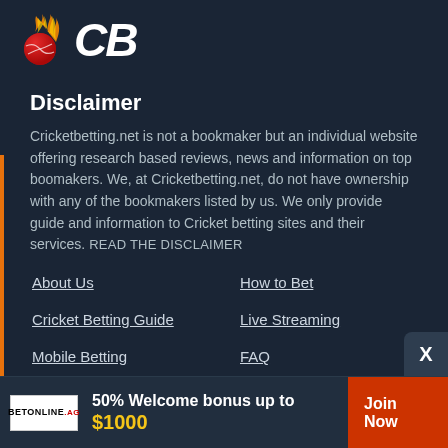[Figure (logo): CB cricket betting logo with red cricket ball and italic CB text in white]
Disclaimer
Cricketbetting.net is not a bookmaker but an individual website offering research based reviews, news and information on top boomakers. We, at Cricketbetting.net, do not have ownership with any of the bookmakers listed by us. We only provide guide and information to Cricket betting sites and their services. READ THE DISCLAIMER
About Us
How to Bet
Cricket Betting Guide
Live Streaming
Mobile Betting
FAQ
Contact Us
Sitemap
50% Welcome bonus up to $1000
Join Now